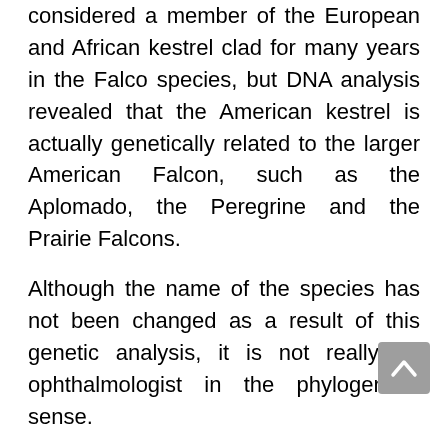considered a member of the European and African kestrel clad for many years in the Falco species, but DNA analysis revealed that the American kestrel is actually genetically related to the larger American Falcon, such as the Aplomado, the Peregrine and the Prairie Falcons.
Although the name of the species has not been changed as a result of this genetic analysis, it is not really an ophthalmologist in the phylogenetic sense.
Instead, the process of evolutionary evolution, such as true kestrels, left it in the same physical traits and prey patterns to fit a small prey species similar to the ecosystem.
The American kestrel is a common bird, especially used by newcomers to Falconry. Although not a...